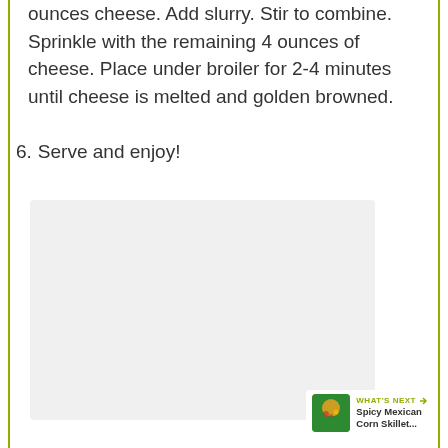ounces cheese. Add slurry. Stir to combine. Sprinkle with the remaining 4 ounces of cheese. Place under broiler for 2-4 minutes until cheese is melted and golden browned.
6. Serve and enjoy!
[Figure (photo): Light gray image placeholder box]
[Figure (infographic): Social sharing UI: heart button with count 1, share button, and WHAT'S NEXT arrow with Spicy Mexican Corn Skillet thumbnail]